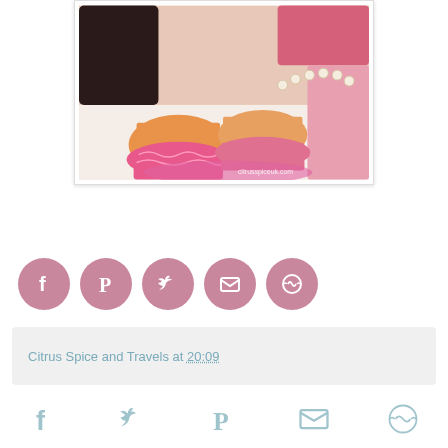[Figure (photo): Photo of pink strawberry cupcakes in decorative pink patterned cupcake liners, with pearl necklace jewelry and additional cupcakes in background, watermark reads citrusspiceuk.com]
[Figure (infographic): Row of 5 pink circular social media share buttons: Facebook, Pinterest, Twitter, Email, More options]
Citrus Spice and Travels at 20:09
[Figure (infographic): Row of 5 grey/teal social media share icons at bottom: Facebook, Twitter, Pinterest, Email, More options]